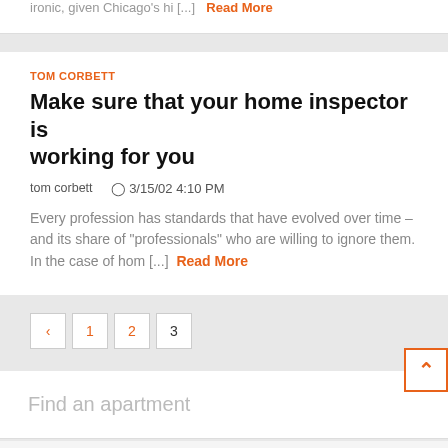ironic, given Chicago's hi [...] Read More
TOM CORBETT
Make sure that your home inspector is working for you
tom corbett   3/15/02 4:10 PM
Every profession has standards that have evolved over time – and its share of "professionals" who are willing to ignore them. In the case of hom [...] Read More
< 1 2 3
Find an apartment
Apartment lists, rents, maps & videos